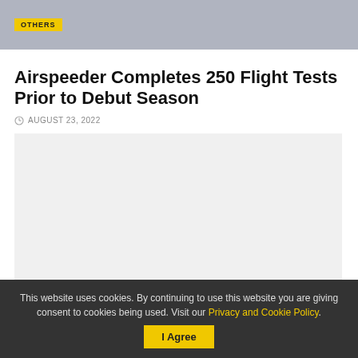OTHERS
Airspeeder Completes 250 Flight Tests Prior to Debut Season
AUGUST 23, 2022
[Figure (photo): Light grey placeholder image area for article photo]
This website uses cookies. By continuing to use this website you are giving consent to cookies being used. Visit our Privacy and Cookie Policy. I Agree